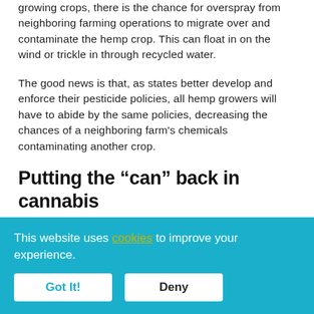growing crops, there is the chance for overspray from neighboring farming operations to migrate over and contaminate the hemp crop. This can float in on the wind or trickle in through recycled water.
The good news is that, as states better develop and enforce their pesticide policies, all hemp growers will have to abide by the same policies, decreasing the chances of a neighboring farm's chemicals contaminating another crop.
Putting the “can” back in cannabis
While the federal legal landscape often seems to move at a snail’s pace, there is (hopefully) good news on the horizon. Following the passage of the 2018 Farm Bill, which made hemp federally legal, laces have loosened a smidge on the
This website uses cookies to improve your experience.